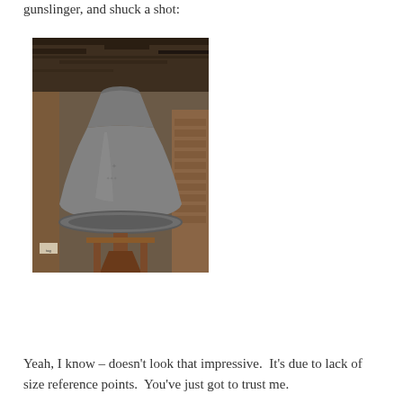gunslinger, and shuck a shot:
[Figure (photo): A large metal church bell hanging in a wooden bell tower. The bell is bronze/dark grey colored and quite large. Below the bell are wooden support posts. The background shows brick walls and wooden beams of the tower interior.]
Yeah, I know – doesn't look that impressive.  It's due to lack of size reference points.  You've just got to trust me.